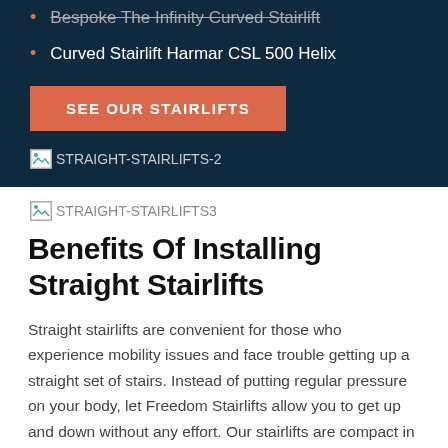Bespoke The Infinity Curved Stairlift
Curved Stairlift Harmar CSL 500 Helix
SEE OUR STAIRLIFTS
[Figure (photo): Broken image placeholder with alt text STRAIGHT-STAIRLIFTS-2]
[Figure (photo): Broken image placeholder with alt text STRAIGHT-STAIRLIFTS3]
Benefits Of Installing Straight Stairlifts
Straight stairlifts are convenient for those who experience mobility issues and face trouble getting up a straight set of stairs. Instead of putting regular pressure on your body, let Freedom Stairlifts allow you to get up and down without any effort. Our stairlifts are compact in design, thus you will see it as part of your home furnishing. You can look forward to